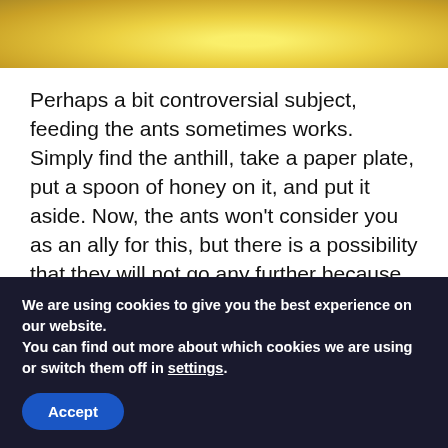[Figure (photo): Close-up photo of honey or yellow food item, partially visible at top of page]
Perhaps a bit controversial subject, feeding the ants sometimes works. Simply find the anthill, take a paper plate, put a spoon of honey on it, and put it aside. Now, the ants won't consider you as an ally for this, but there is a possibility that they will not go any further because of the abundance (in their terms) of food. The drawback is that if you have pets, they might find and eat the bait, or the honey
We are using cookies to give you the best experience on our website.
You can find out more about which cookies we are using or switch them off in settings.
Accept